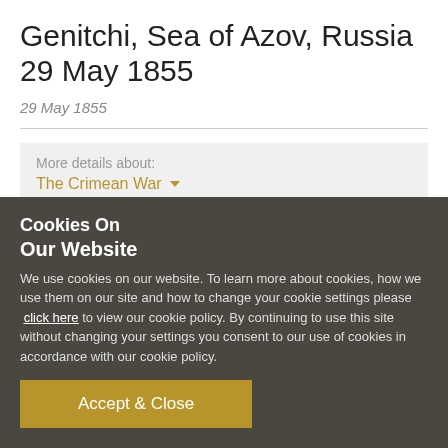Genitchi, Sea of Azov, Russia 29 May 1855
29 May 1855
More details about:
The Crimean War
In May 1855 a large British and French naval force, carrying 15,000 Allied infantry, sailed for the Strait of Kertch, which divided the eastern Crimea from the Russian mainland. Its
Cookies On
Our Website
We use cookies on our website. To learn more about cookies, how we use them on our site and how to change your cookie settings please  click here to view our cookie policy. By continuing to use this site without changing your settings you consent to our use of cookies in accordance with our cookie policy.
Accept & Close